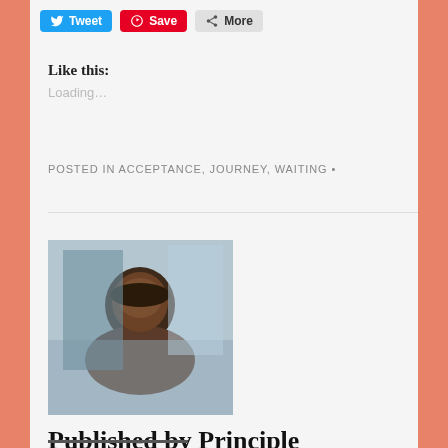[Figure (screenshot): Social sharing buttons: Tweet (blue), Save (red Pinterest), More (grey)]
Like this:
Loading…
POSTED IN ACCEPTANCE, JOURNEY, WAITING •
[Figure (photo): Portrait photo of Principle Michelle, a smiling Black woman with short curly hair and glasses, seated in an office chair]
Published by Principle Michelle